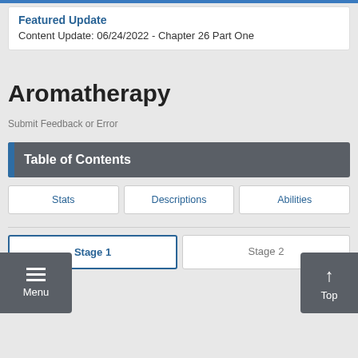Featured Update
Content Update: 06/24/2022 - Chapter 26 Part One
Aromatherapy
Submit Feedback or Error
Table of Contents
Stats
Descriptions
Abilities
Stage 1
Stage 2